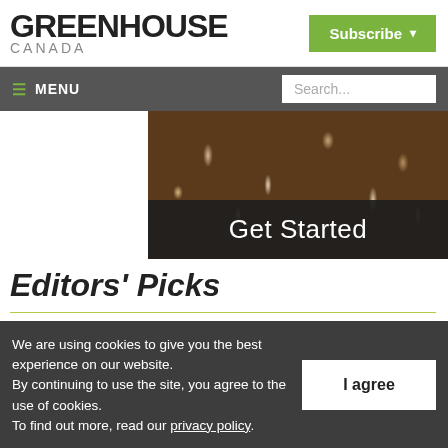GREENHOUSE CANADA
Subscribe
≡ MENU
Search...
[Figure (photo): Close-up photo of plant roots tangled together, brown and white fibrous root structure, with a dark banner overlay reading 'Get Started']
Editors' Picks
We are using cookies to give you the best experience on our website.
By continuing to use the site, you agree to the use of cookies.
To find out more, read our privacy policy.
I agree